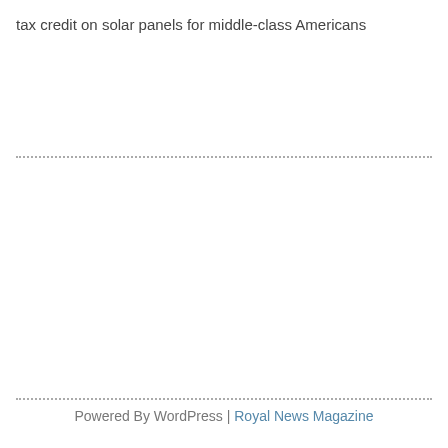tax credit on solar panels for middle-class Americans
Powered By WordPress | Royal News Magazine